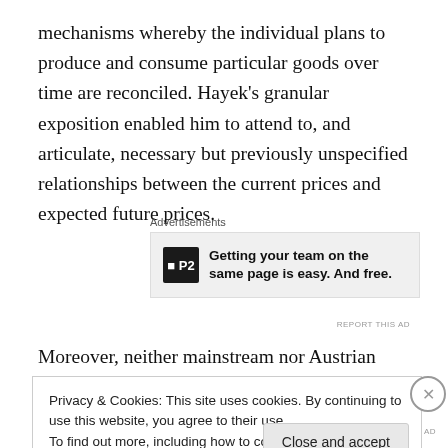mechanisms whereby the individual plans to produce and consume particular goods over time are reconciled. Hayek's granular exposition enabled him to attend to, and articulate, necessary but previously unspecified relationships between the current prices and expected future prices.
[Figure (other): Advertisement banner: P2 logo with text 'Getting your team on the same page is easy. And free.']
Moreover, neither mainstream nor Austrian economists
Privacy & Cookies: This site uses cookies. By continuing to use this website, you agree to their use.
To find out more, including how to control cookies, see here: Cookie Policy